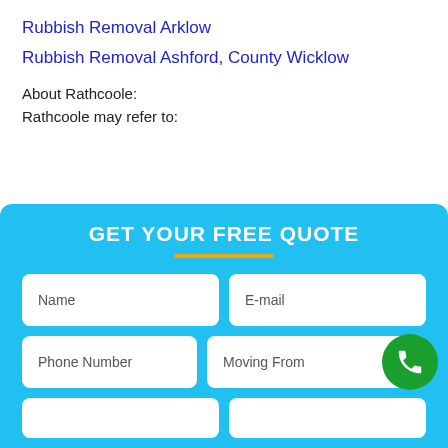Rubbish Removal Arklow
Rubbish Removal Ashford, County Wicklow
About Rathcoole:
Rathcoole may refer to:
GET YOUR FREE QUOTE
Name
E-mail
Phone Number
Moving From